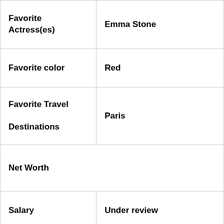| Category | Value |
| --- | --- |
| Favorite Actress(es) | Emma Stone |
| Favorite color | Red |
| Favorite Travel Destinations | Paris |
| Net Worth |  |
| Salary | Under review |
| Net worth | $1 million own
$25 million with husband |
|  |  |